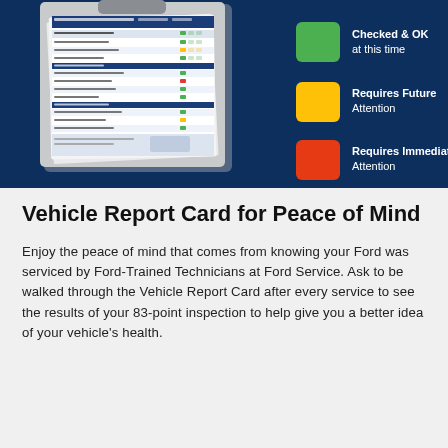[Figure (infographic): Dark blue background infographic showing a Vehicle Report Card on a clipboard on the left side, and three colored legend boxes on the right: green square labeled 'Checked & OK at this time', yellow square labeled 'Requires Future Attention', red/orange square labeled 'Requires Immediate Attention'.]
Vehicle Report Card for Peace of Mind
Enjoy the peace of mind that comes from knowing your Ford was serviced by Ford-Trained Technicians at Ford Service. Ask to be walked through the Vehicle Report Card after every service to see the results of your 83-point inspection to help give you a better idea of your vehicle's health.